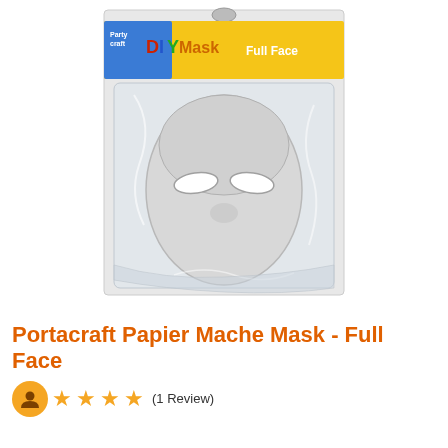[Figure (photo): Product photo of a Portacraft Papier Mache Full Face DIY mask in clear plastic packaging. The packaging has a blue and yellow header reading 'DIY Mask Full Face' with 'Party Craft' branding. The white paper mache mask with eye holes is visible through the clear plastic bag. A metal hang tab is at the top of the package.]
Portacraft Papier Mache Mask - Full Face
★★★★ (1 Review)